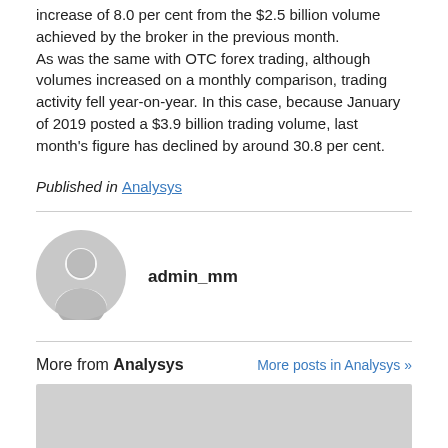increase of 8.0 per cent from the $2.5 billion volume achieved by the broker in the previous month.
As was the same with OTC forex trading, although volumes increased on a monthly comparison, trading activity fell year-on-year. In this case, because January of 2019 posted a $3.9 billion trading volume, last month's figure has declined by around 30.8 per cent.
Published in Analysys
[Figure (illustration): Circular avatar icon of a generic user profile silhouette in grey]
admin_mm
More from Analysys
More posts in Analysys »
[Figure (photo): Grey image placeholder rectangle]